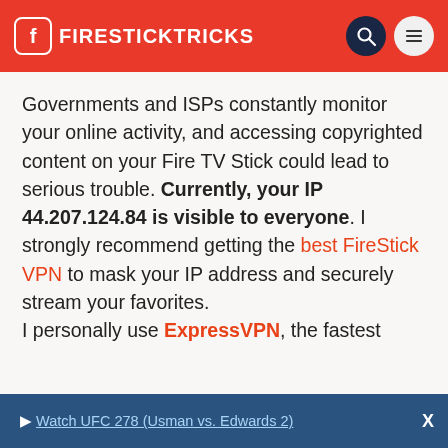FIRESTICKTRICKS
Governments and ISPs constantly monitor your online activity, and accessing copyrighted content on your Fire TV Stick could lead to serious trouble. Currently, your IP 44.207.124.84 is visible to everyone. I strongly recommend getting the best FireStick VPN to mask your IP address and securely stream your favorites.

I personally use ExpressVPN, the fastest
▶ Watch UFC 278 (Usman vs. Edwards 2)